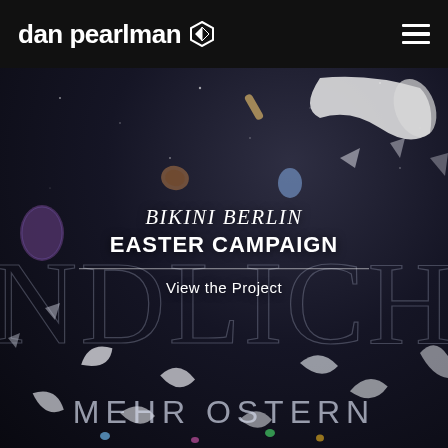dan pearlman
[Figure (photo): Dark space-themed hero image with floating objects (eggs, petals, chocolates), large watermark text 'NDLICH' and 'MEHR OSTERN' overlaid. Center overlay shows 'BIKINI BERLIN EASTER CAMPAIGN' with 'View the Project' link.]
BIKINI BERLIN EASTER CAMPAIGN
View the Project